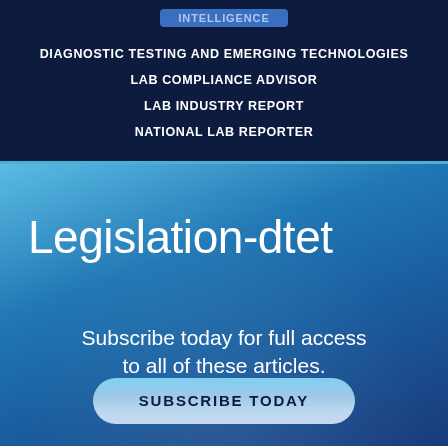INTELLIGENCE
DIAGNOSTIC TESTING AND EMERGING TECHNOLOGIES
LAB COMPLIANCE ADVISOR
LAB INDUSTRY REPORT
NATIONAL LAB REPORTER
Legislation-dtet
Subscribe today for full access to all of these articles.
SUBSCRIBE TODAY